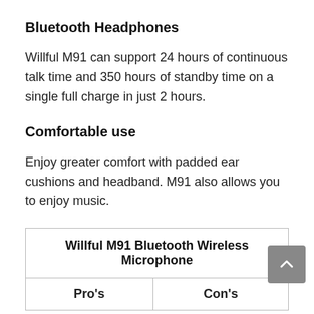Bluetooth Headphones
Willful M91 can support 24 hours of continuous talk time and 350 hours of standby time on a single full charge in just 2 hours.
Comfortable use
Enjoy greater comfort with padded ear cushions and headband. M91 also allows you to enjoy music.
| Willful M91 Bluetooth Wireless Microphone |
| --- |
| Pro's | Con's |